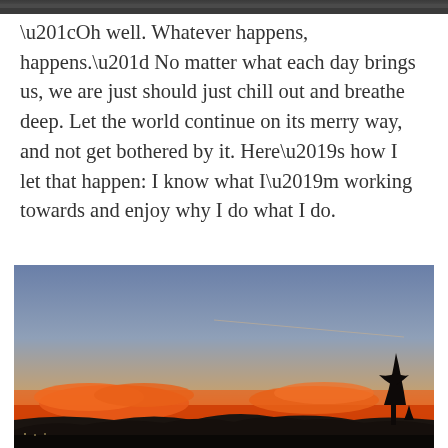[Figure (photo): Dark narrow strip at the top of the page, appearing to be the bottom of a previously shown image]
“Oh well. Whatever happens, happens.” No matter what each day brings us, we are just should just chill out and breathe deep. Let the world continue on its merry way, and not get bothered by it. Here’s how I let that happen: I know what I’m working towards and enjoy why I do what I do.
[Figure (photo): Sunset photograph showing a vivid orange and pink horizon with silhouetted mountains and trees against a blue-grey sky, with dramatic orange clouds]